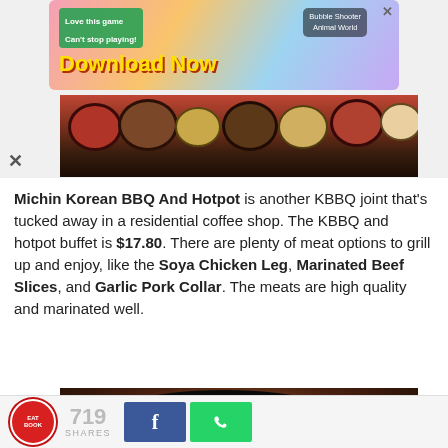[Figure (screenshot): Mobile game advertisement banner: 'Love this game Can't stop playing! Download Now — Bubble Shooter Animal World']
[Figure (photo): Top-down view of Korean BBQ and hotpot dishes: multiple bowls with soup and side dishes on dark table]
Michin Korean BBQ And Hotpot is another KBBQ joint that's tucked away in a residential coffee shop. The KBBQ and hotpot buffet is $17.80. There are plenty of meat options to grill up and enjoy, like the Soya Chicken Leg, Marinated Beef Slices, and Garlic Pork Collar. The meats are high quality and marinated well.
[Figure (photo): Close-up of a Korean hotpot (budae jjigae or similar) in a black cast iron pot with noodles and broth]
719 SHARES